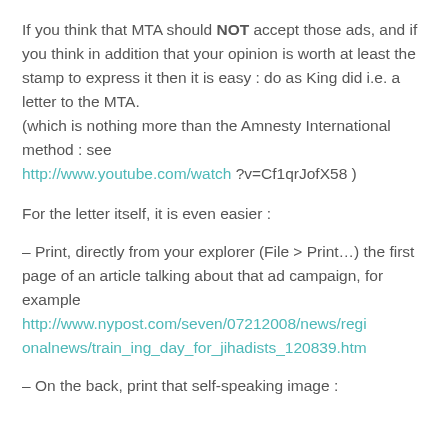If you think that MTA should NOT accept those ads, and if you think in addition that your opinion is worth at least the stamp to express it then it is easy : do as King did i.e. a letter to the MTA. (which is nothing more than the Amnesty International method : see http://www.youtube.com/watch ?v=Cf1qrJofX58 )
For the letter itself, it is even easier :
– Print, directly from your explorer (File > Print…) the first page of an article talking about that ad campaign, for example http://www.nypost.com/seven/07212008/news/regionalnews/train_ing_day_for_jihadists_120839.htm
– On the back, print that self-speaking image :